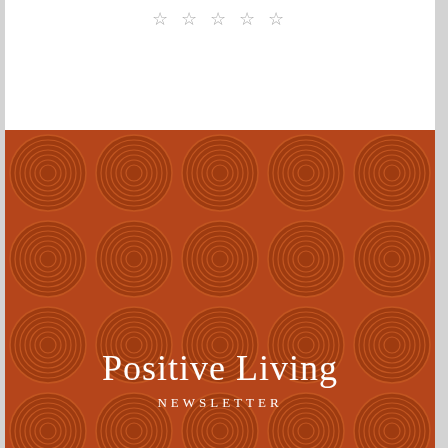[Figure (illustration): Five gray star rating icons in a row on white background]
[Figure (illustration): Orange/rust colored banner with concentric circle geometric pattern and white text reading 'Positive Living' in large serif font and 'NEWSLETTER' in smaller spaced caps below]
Submitted by Daniel Jordan for the Positive Living Newsletter (May 2017). Read the rest of the newsletter here.